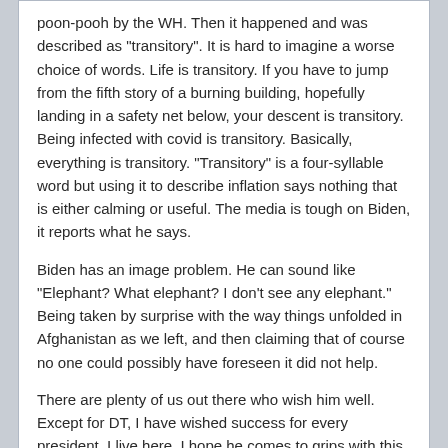poon-pooh by the WH. Then it happened and was described as "transitory". It is hard to imagine a worse choice of words. Life is transitory. If you have to jump from the fifth story of a burning building, hopefully landing in a safety net below, your descent is transitory. Being infected with covid is transitory. Basically, everything is transitory. "Transitory" is a four-syllable word but using it to describe inflation says nothing that is either calming or useful. The media is tough on Biden, it reports what he says.
Biden has an image problem. He can sound like "Elephant? What elephant? I don't see any elephant." Being taken by surprise with the way things unfolded in Afghanistan as we left, and then claiming that of course no one could possibly have foreseen it did not help.
There are plenty of us out there who wish him well. Except for DT, I have wished success for every president. I live here. I hope he comes to grips with this.
Winstonm
2021-November-16, 13:22
kenberg, on 2021-November-16, 09:44, said: